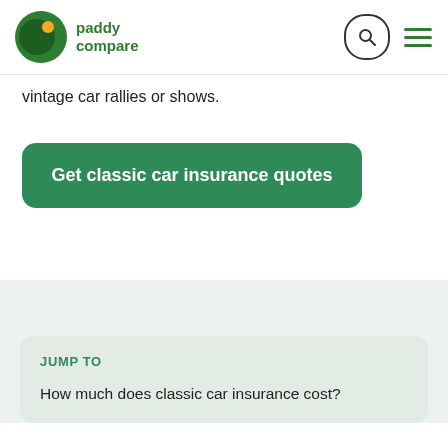[Figure (logo): Paddy Compare logo: dark green circle with crescent and orange dot, with text 'paddy compare' in green]
vintage car rallies or shows.
Get classic car insurance quotes
JUMP TO
How much does classic car insurance cost?